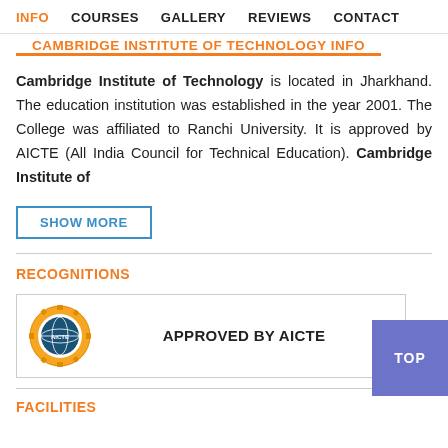INFO  COURSES  GALLERY  REVIEWS  CONTACT
CAMBRIDGE INSTITUTE OF TECHNOLOGY INFO
Cambridge Institute of Technology is located in Jharkhand. The education institution was established in the year 2001. The College was affiliated to Ranchi University. It is approved by AICTE (All India Council for Technical Education). Cambridge Institute of
SHOW MORE
RECOGNITIONS
[Figure (logo): AICTE logo — circular gear emblem with globe and text AICTE]
APPROVED BY AICTE
FACILITIES